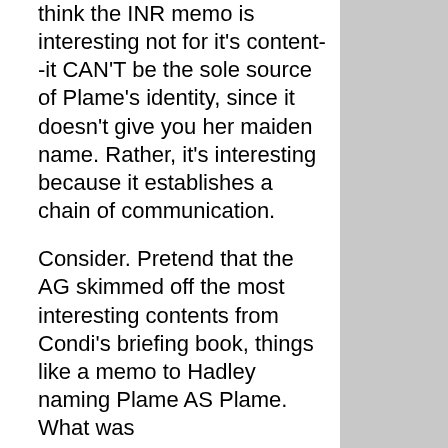think the INR memo is interesting not for it's content--it CAN'T be the sole source of Plame's identity, since it doesn't give you her maiden name. Rather, it's interesting because it establishes a chain of communication.
Consider. Pretend that the AG skimmed off the most interesting contents from Condi's briefing book, things like a memo to Hadley naming Plame AS Plame. What was